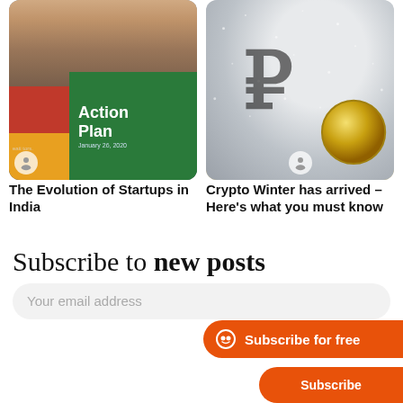[Figure (photo): Photo of Narendra Modi with an 'Action Plan January 26, 2020' green overlay banner and a collage grid below. Avatar circle in bottom-left.]
[Figure (photo): Photo of a Bitcoin/Rupee coin resting in snow/ice with a ruble or rupee symbol visible. Avatar circle at bottom center.]
The Evolution of Startups in India
Crypto Winter has arrived – Here’s what you must know
Subscribe to new posts
Your email address
Subscribe for free
Subscribe